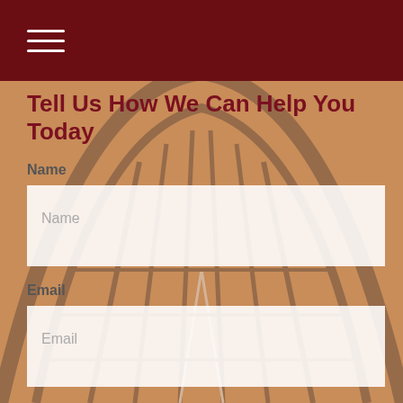≡ (navigation menu)
Tell Us How We Can Help You Today
Name
Name (placeholder)
Email
Email (placeholder)
Phone
Phone (placeholder)